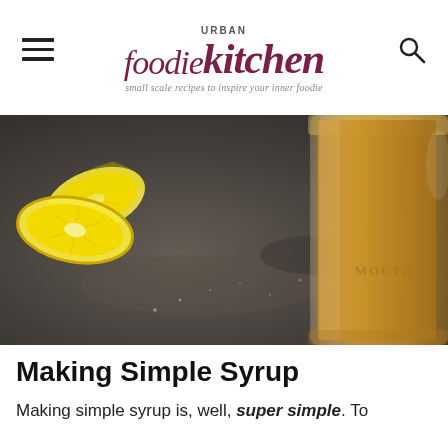Urban Foodie Kitchen — small scale recipes to inspire your inner foodie
[Figure (photo): Close-up photo of lemon slices on a dark slate surface next to a glass mason jar filled with amber-colored simple syrup]
Making Simple Syrup
Making simple syrup is, well, super simple. To